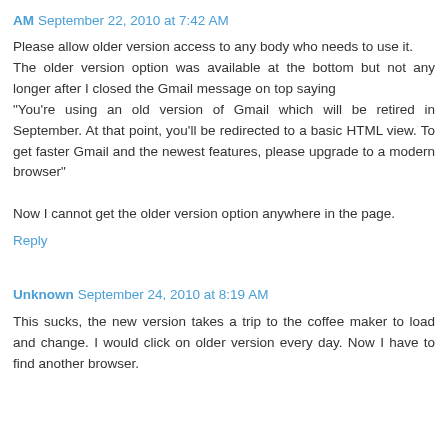AM  September 22, 2010 at 7:42 AM
Please allow older version access to any body who needs to use it.
The older version option was available at the bottom but not any longer after I closed the Gmail message on top saying
"You're using an old version of Gmail which will be retired in September. At that point, you'll be redirected to a basic HTML view. To get faster Gmail and the newest features, please upgrade to a modern browser"

Now I cannot get the older version option anywhere in the page.
Reply
Unknown  September 24, 2010 at 8:19 AM
This sucks, the new version takes a trip to the coffee maker to load and change. I would click on older version every day. Now I have to find another browser.